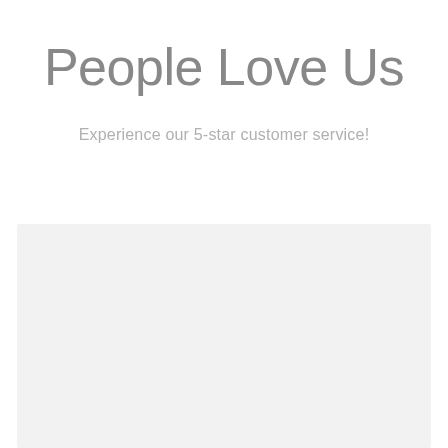People Love Us
Experience our 5-star customer service!
[Figure (other): Large light gray rectangular placeholder box occupying the bottom half of the page]